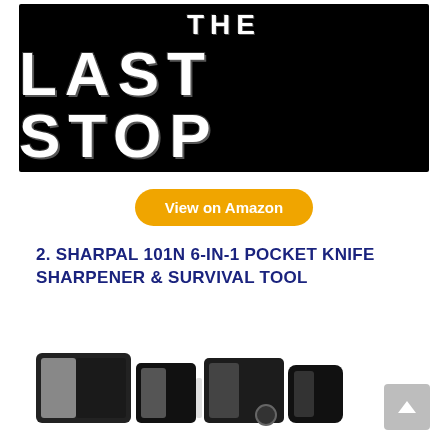[Figure (logo): Black banner with white distressed text reading 'THE LAST STOP' — a website/brand logo]
[Figure (other): Orange rounded button with white text 'View on Amazon']
2. SHARPAL 101N 6-IN-1 POCKET KNIFE SHARPENER & SURVIVAL TOOL
[Figure (photo): Bottom portion of a product photo showing a black and silver pocket knife sharpener against a white background]